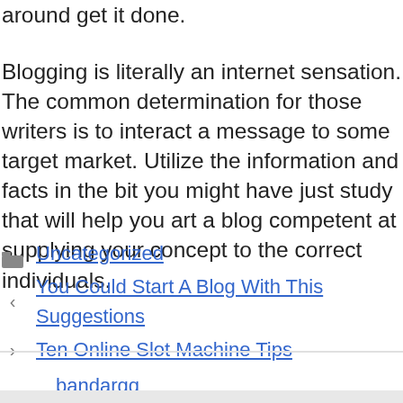around get it done.

Blogging is literally an internet sensation. The common determination for those writers is to interact a message to some target market. Utilize the information and facts in the bit you might have just study that will help you art a blog competent at supplying your concept to the correct individuals.
Uncategorized
You Could Start A Blog With This Suggestions
Ten Online Slot Machine Tips
bandarqq